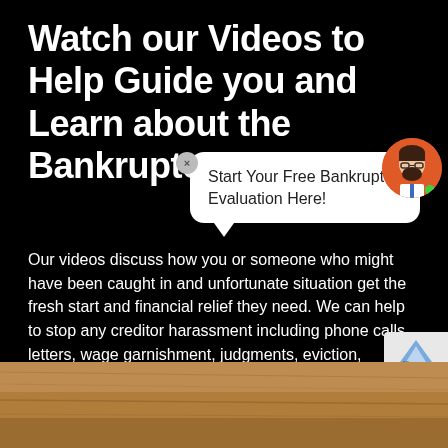Watch our Videos to Help Guide you and Learn about the Bankruptcy Process
[Figure (other): Chat bubble popup overlay with close button (X) and avatar icon showing 'Start Your Free Bankruptcy Evaluation Here!']
Our videos discuss how you or someone who might have been caught in and unfortunate situation get the fresh start and financial relief they need. We can help to stop any creditor harassment including phone calls, letters, wage garnishment, judgments, eviction, foreclosure and more. Contact one of our staff today for a free consultation and get started on the path to financial freedom.
[Figure (photo): Bottom strip showing a wooden desk surface, partially cropped, with a partial reCAPTCHA widget visible at top-right corner]